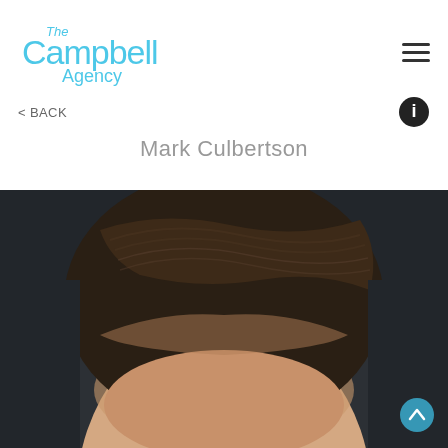[Figure (logo): The Campbell Agency logo in light blue text]
< BACK
Mark Culbertson
[Figure (photo): Professional headshot of Mark Culbertson showing dark hair styled back, photographed against a dark background, only top portion of face visible]